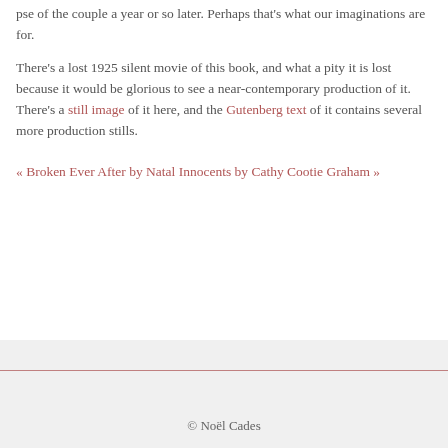pse of the couple a year or so later. Perhaps that's what our imaginations are for.
There's a lost 1925 silent movie of this book, and what a pity it is lost because it would be glorious to see a near-contemporary production of it. There's a still image of it here, and the Gutenberg text of it contains several more production stills.
« Broken Ever After by Natal Innocents by Cathy Cootie Graham »
© Noël Cades